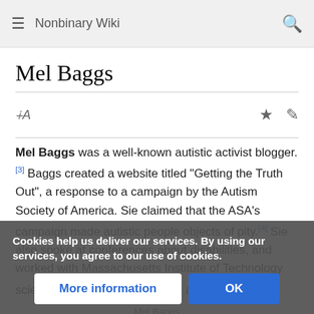Nonbinary Wiki
Mel Baggs
Mel Baggs was a well-known autistic activist blogger.[3] Baggs created a website titled "Getting the Truth Out", a response to a campaign by the Autism Society of America. Sie claimed that the ASA's campaign made autistic people objects of pity.[4] Sie also spoke at conferences about disabilities, and worked with Massachusetts Institute of Technology scientists that were researching autism.[5]
Cookies help us deliver our services. By using our services, you agree to our use of cookies.
Date of birth